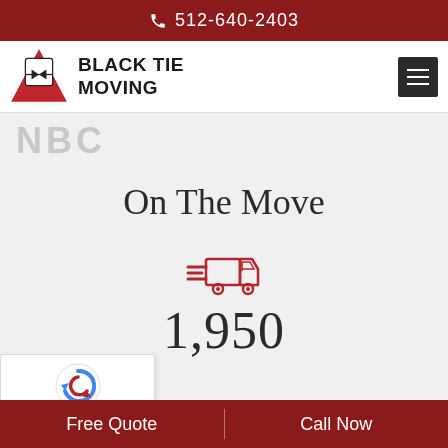512-640-2403
[Figure (logo): Black Tie Moving company logo with shield/box graphic and brand name]
NBC
On The Move
[Figure (illustration): Red moving truck icon with lines indicating speed/movement]
1,950
Free Quote | Call Now